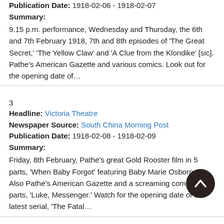Publication Date: 1918-02-06 - 1918-02-07
Summary:
9.15 p.m. performance, Wednesday and Thursday, the 6th and 7th February 1918, 7th and 8th episodes of 'The Great Secret,' 'The Yellow Claw' and 'A Clue from the Klondike' [sic]. Pathe's American Gazette and various comics. Look out for the opening date of…
3
Headline: Victoria Theatre
Newspaper Source: South China Morning Post
Publication Date: 1918-02-08 - 1918-02-09
Summary:
Friday, 8th February, Pathe's great Gold Rooster film in 5 parts, 'When Baby Forgot' featuring Baby Marie Osborne. Also Pathe's American Gazette and a screaming comedy in 2 parts, 'Luke, Messenger.' Watch for the opening date of the latest serial, 'The Fatal…
4
Headline: Victoria Theatre
Newspaper Source: South China Morning Post